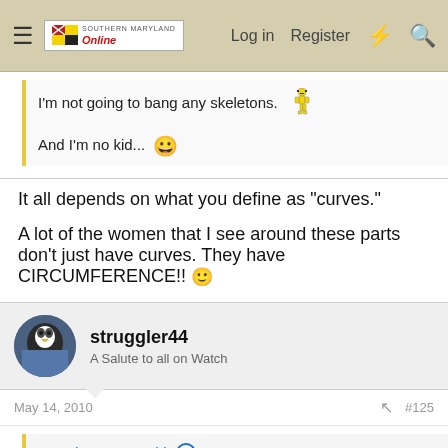Southern Maryland Online — Log in   Register
I'm not going to bang any skeletons.
And I'm no kid...
It all depends on what you define as "curves."

A lot of the women that I see around these parts don't just have curves. They have CIRCUMFERENCE!! :)
struggler44
A Salute to all on Watch
May 14, 2010   #125
SG_Player1974 said:
It all depends on what you define as "curves."